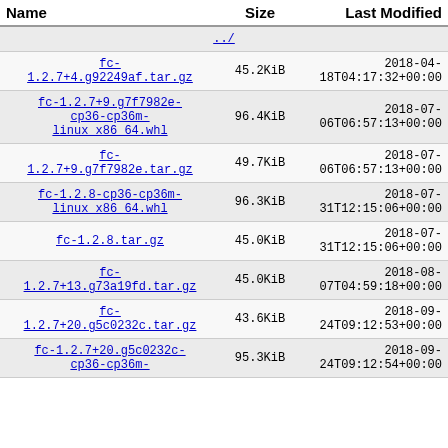| Name | Size | Last Modified |
| --- | --- | --- |
| ../ |  |  |
| fc-1.2.7+4.g92249af.tar.gz | 45.2KiB | 2018-04-18T04:17:32+00:00 |
| fc-1.2.7+9.g7f7982e-cp36-cp36m-linux_x86_64.whl | 96.4KiB | 2018-07-06T06:57:13+00:00 |
| fc-1.2.7+9.g7f7982e.tar.gz | 49.7KiB | 2018-07-06T06:57:13+00:00 |
| fc-1.2.8-cp36-cp36m-linux_x86_64.whl | 96.3KiB | 2018-07-31T12:15:06+00:00 |
| fc-1.2.8.tar.gz | 45.0KiB | 2018-07-31T12:15:06+00:00 |
| fc-1.2.7+13.g73a19fd.tar.gz | 45.0KiB | 2018-08-07T04:59:18+00:00 |
| fc-1.2.7+20.g5c0232c.tar.gz | 43.6KiB | 2018-09-24T09:12:53+00:00 |
| fc-1.2.7+20.g5c0232c-cp36-cp36m- | 95.3KiB | 2018-09-24T09:12:54+00:00 |